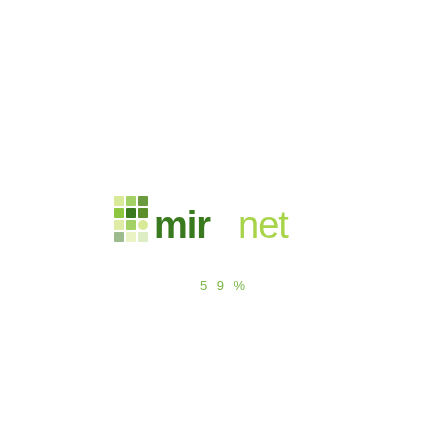[Figure (logo): mirnet logo with colorful grid icon on left and green text 'mir' followed by light green 'net']
59%